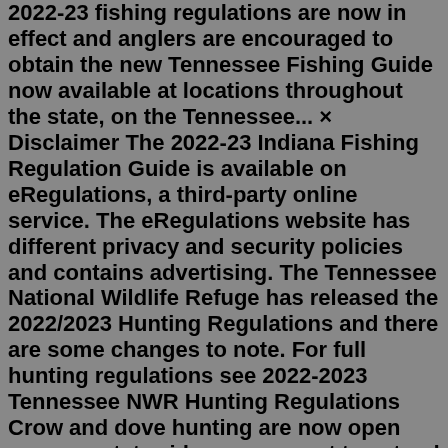2022-23 fishing regulations are now in effect and anglers are encouraged to obtain the new Tennessee Fishing Guide now available at locations throughout the state, on the Tennessee... × Disclaimer The 2022-23 Indiana Fishing Regulation Guide is available on eRegulations, a third-party online service. The eRegulations website has different privacy and security policies and contains advertising. The Tennessee National Wildlife Refuge has released the 2022/2023 Hunting Regulations and there are some changes to note. For full hunting regulations see 2022-2023 Tennessee NWR Hunting Regulations Crow and dove hunting are now open same as statewide seasons not to extend past Nov. 14 th on all areas of the refuge, except Hunt Area 4. GENERAL REGULATIONS (apply year-round) Fishing is allowed during daylight hours only, which is defined as one half-hour before sunrise to one-half hour after sunset. Fishing is permitted with one hand-held rod and a single hook only. All multiple hooks are prohibited. No one over 12 years old is allowed to fish